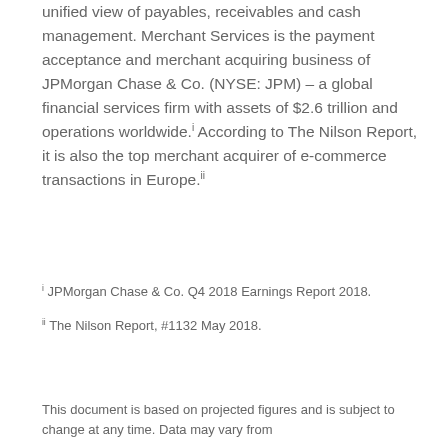unified view of payables, receivables and cash management. Merchant Services is the payment acceptance and merchant acquiring business of JPMorgan Chase & Co. (NYSE: JPM) – a global financial services firm with assets of $2.6 trillion and operations worldwide.i According to The Nilson Report, it is also the top merchant acquirer of e-commerce transactions in Europe.ii
i JPMorgan Chase & Co. Q4 2018 Earnings Report 2018.
ii The Nilson Report, #1132 May 2018.
This document is based on projected figures and is subject to change at any time. Data may vary from